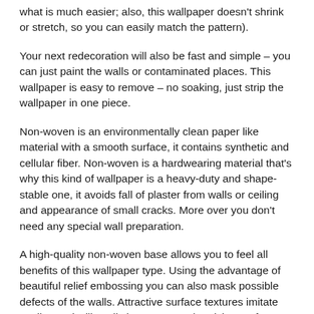what is much easier; also, this wallpaper doesn't shrink or stretch, so you can easily match the pattern).
Your next redecoration will also be fast and simple – you can just paint the walls or contaminated places. This wallpaper is easy to remove – no soaking, just strip the wallpaper in one piece.
Non-woven is an environmentally clean paper like material with a smooth surface, it contains synthetic and cellular fiber. Non-woven is a hardwearing material that's why this kind of wallpaper is a heavy-duty and shape-stable one, it avoids fall of plaster from walls or ceiling and appearance of small cracks. More over you don't need any special wall preparation.
A high-quality non-woven base allows you to feel all benefits of this wallpaper type. Using the advantage of beautiful relief embossing you can also mask possible defects of the walls. Attractive surface textures imitate textiles and will easily become a real enrichment for your